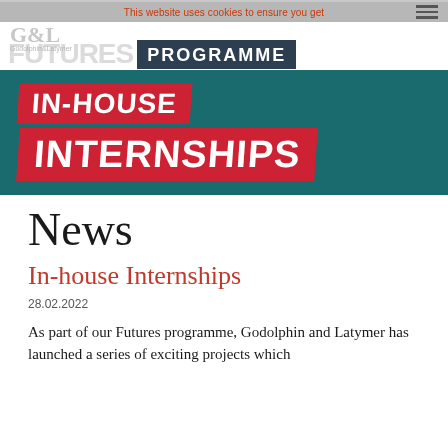This website uses cookies to ensure you get
[Figure (screenshot): Godolphin & Latymer Futures Programme header banner with 'IN-HOUSE INTERNSHIPS' text on teal background with red badges]
News
In-house Internships
28.02.2022
As part of our Futures programme, Godolphin and Latymer has launched a series of exciting projects which